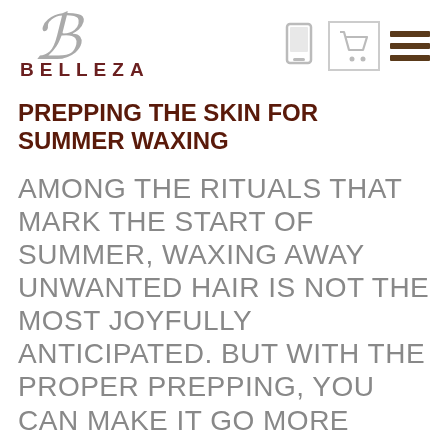BELLEZA
PREPPING THE SKIN FOR SUMMER WAXING
AMONG THE RITUALS THAT MARK THE START OF SUMMER, WAXING AWAY UNWANTED HAIR IS NOT THE MOST JOYFULLY ANTICIPATED. BUT WITH THE PROPER PREPPING, YOU CAN MAKE IT GO MORE